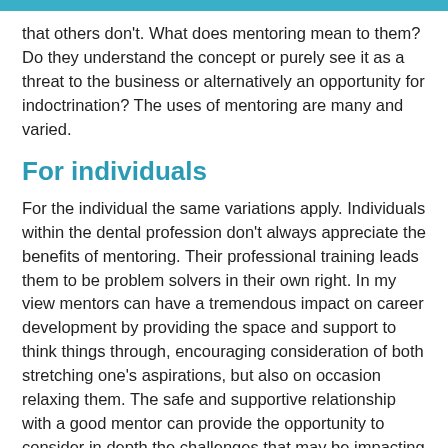that others don't. What does mentoring mean to them? Do they understand the concept or purely see it as a threat to the business or alternatively an opportunity for indoctrination? The uses of mentoring are many and varied.
For individuals
For the individual the same variations apply. Individuals within the dental profession don't always appreciate the benefits of mentoring. Their professional training leads them to be problem solvers in their own right. In my view mentors can have a tremendous impact on career development by providing the space and support to think things through, encouraging consideration of both stretching one's aspirations, but also on occasion relaxing them. The safe and supportive relationship with a good mentor can provide the opportunity to consider in depth the challenges that may be impacting on an individual. An organisation is only as effective as its component parts, thus it is important that those working within it are